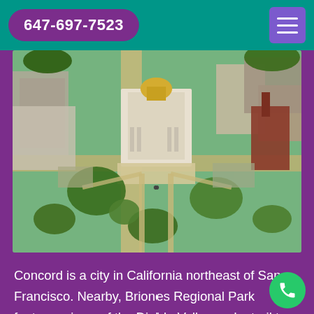647-697-7523
[Figure (photo): Aerial drone view of a city with a large neoclassical government building featuring a gold dome, surrounded by green trees, pathways, and urban buildings]
Concord is a city in California northeast of San Francisco. Nearby, Briones Regional Park features views of the Diablo Valley and a trail to Diablo Foothills Regional Park, with wildflowers and views of San Francisco Bay. A former coa